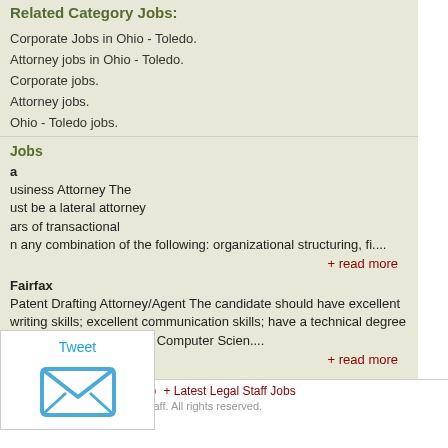Related Category Jobs:
Corporate Jobs in Ohio - Toledo.
Attorney jobs in Ohio - Toledo.
Corporate jobs.
Attorney jobs.
Ohio - Toledo jobs.
Jobs
Business Attorney The must be a lateral attorney ars of transactional n any combination of the following: organizational structuring, fi....
+ read more
Fairfax
Patent Drafting Attorney/Agent The candidate should have excellent writing skills; excellent communication skills; have a technical degree in Electrical Engineering, Computer Scien....
+ read more
[Figure (other): Tweet button overlay with envelope/email icon]
+ Privacy Policy   + Site Map   + Latest Legal Staff Jobs
© Copyright 2022 Law Firm Staff. All rights reserved.